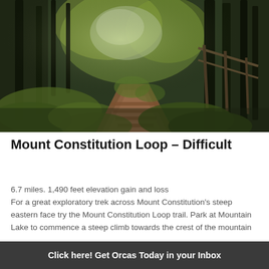[Figure (photo): Forest trail with wooden steps/path leading through green mossy trees, with wooden fence/railing visible on the right side. Sunlight filtering through dense forest canopy.]
Mount Constitution Loop – Difficult
6.7 miles. 1,490 feet elevation gain and loss
For a great exploratory trek across Mount Constitution's steep eastern face try the Mount Constitution Loop trail. Park at Mountain Lake to commence a steep climb towards the crest of the mountain …
Click here! Get Orcas Today in your Inbox